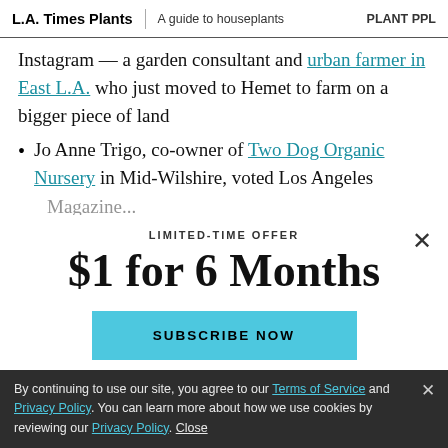L.A. Times Plants | A guide to houseplants | PLANT PPL
Instagram — a garden consultant and urban farmer in East L.A. who just moved to Hemet to farm on a bigger piece of land
Jo Anne Trigo, co-owner of Two Dog Organic Nursery in Mid-Wilshire, voted Los Angeles Magazine...
LIMITED-TIME OFFER
$1 for 6 Months
SUBSCRIBE NOW
By continuing to use our site, you agree to our Terms of Service and Privacy Policy. You can learn more about how we use cookies by reviewing our Privacy Policy. Close